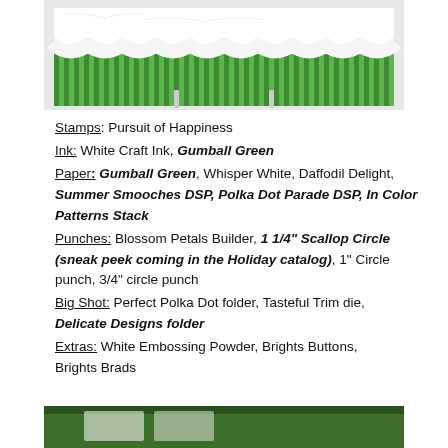[Figure (photo): Craft card with green and white vertical stripes and white scalloped border along the top edge, displayed on a white stand]
Stamps: Pursuit of Happiness
Ink: White Craft Ink, Gumball Green
Paper: Gumball Green, Whisper White, Daffodil Delight, Summer Smooches DSP, Polka Dot Parade DSP, In Color Patterns Stack
Punches: Blossom Petals Builder, 1 1/4" Scallop Circle (sneak peek coming in the Holiday catalog), 1" Circle punch, 3/4" circle punch
Big Shot: Perfect Polka Dot folder, Tasteful Trim die, Delicate Designs folder
Extras: White Embossing Powder, Brights Buttons, Brights Brads
[Figure (photo): Partial view of another craft project at the bottom of the page]